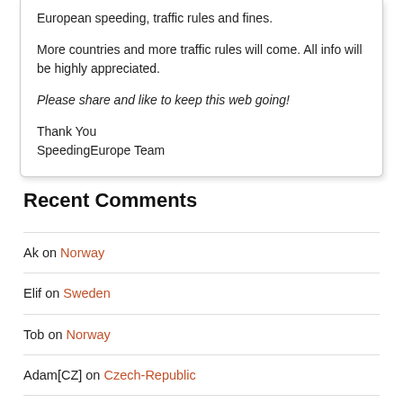European speeding, traffic rules and fines.
More countries and more traffic rules will come. All info will be highly appreciated.
Please share and like to keep this web going!
Thank You
SpeedingEurope Team
Recent Comments
Ak on Norway
Elif on Sweden
Tob on Norway
Adam[CZ] on Czech-Republic
Zamani on Poland
yeee boi on Germany
csv on Norway